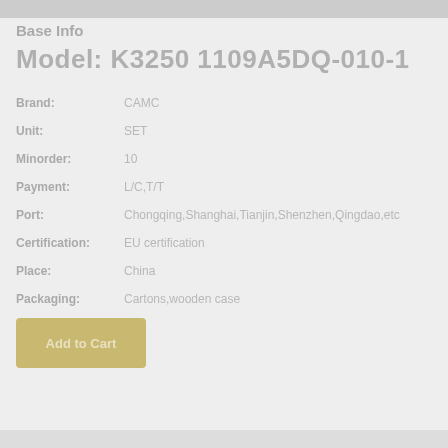Base Info
Model: K3250 1109A5DQ-010-1
Brand: CAMC
Unit: SET
Minorder: 10
Payment: L/C,T/T
Port: Chongqing,Shanghai,Tianjin,Shenzhen,Qingdao,etc
Certification: EU certification
Place: China
Packaging: Cartons,wooden case
[Figure (other): Orange/yellow button or UI element with text]